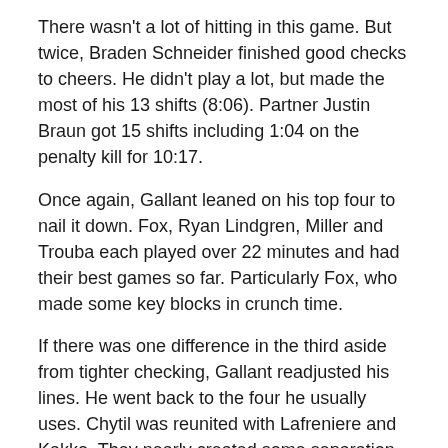There wasn't a lot of hitting in this game. But twice, Braden Schneider finished good checks to cheers. He didn't play a lot, but made the most of his 13 shifts (8:06). Partner Justin Braun got 15 shifts including 1:04 on the penalty kill for 10:17.
Once again, Gallant leaned on his top four to nail it down. Fox, Ryan Lindgren, Miller and Trouba each played over 22 minutes and had their best games so far. Particularly Fox, who made some key blocks in crunch time.
If there was one difference in the third aside from tighter checking, Gallant readjusted his lines. He went back to the four he usually uses. Chytil was reunited with Lafreniere and Kakko. They nearly created some separation.
On a great keep by Lafreniere, he moved the puck down